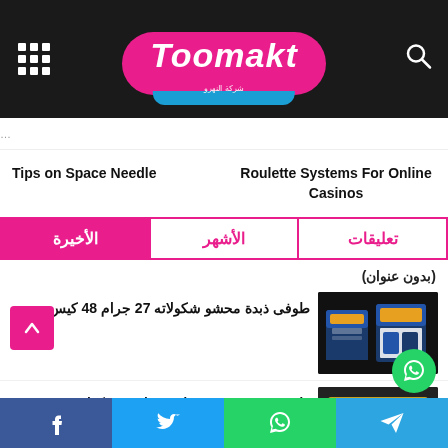Toomakt
Roulette Systems For Online Casinos
Tips on Space Needle
الأخيرة | الأشهر | تعليقات
(بدون عنوان)
طوفى ذبدة محشو شكولاته 27 جرام 48 كيس
[Figure (photo): Product boxes of Toofy chocolate wafer on dark background]
طوفى ذبدة محشو فول سودانى وشكولاته 27 جر 48 كيس
Telegram | WhatsApp | Twitter | Facebook